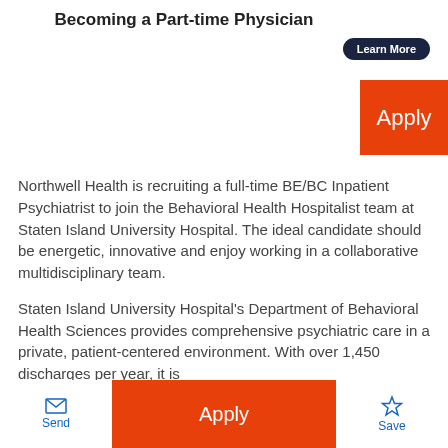Becoming a Part-time Physician
Learn More
Apply
Northwell Health is recruiting a full-time BE/BC Inpatient Psychiatrist to join the Behavioral Health Hospitalist team at Staten Island University Hospital. The ideal candidate should be energetic, innovative and enjoy working in a collaborative multidisciplinary team.
Staten Island University Hospital's Department of Behavioral Health Sciences provides comprehensive psychiatric care in a private, patient-centered environment. With over 1,450 discharges per year, it is
Send   Apply   Save